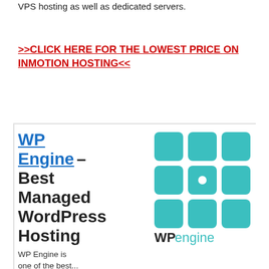VPS hosting as well as dedicated servers.
>>CLICK HERE FOR THE LOWEST PRICE ON INMOTION HOSTING<<
WP Engine – Best Managed WordPress Hosting
[Figure (logo): WP Engine logo: a 3x3 grid of teal rounded-corner squares with a white dot in the center square, and 'WP engine' wordmark below in teal/dark]
WP Engine is one of the best...